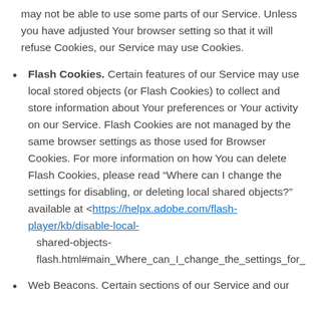may not be able to use some parts of our Service. Unless you have adjusted Your browser setting so that it will refuse Cookies, our Service may use Cookies.
Flash Cookies. Certain features of our Service may use local stored objects (or Flash Cookies) to collect and store information about Your preferences or Your activity on our Service. Flash Cookies are not managed by the same browser settings as those used for Browser Cookies. For more information on how You can delete Flash Cookies, please read “Where can I change the settings for disabling, or deleting local shared objects?” available at <https://helpx.adobe.com/flash-player/kb/disable-local-shared-objects-flash.html#main_Where_can_I_change_the_settings_for_
Web Beacons. Certain sections of our Service and our...